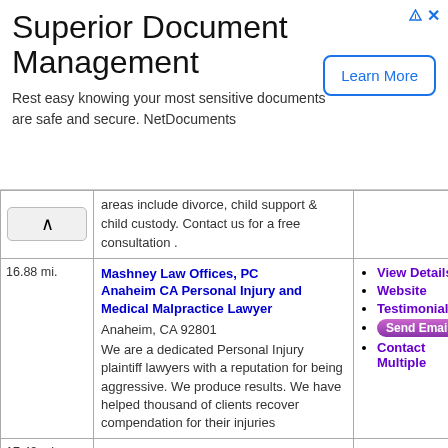[Figure (other): Advertisement banner for Superior Document Management / NetDocuments with Learn More button]
areas include divorce, child support & child custody. Contact us for a free consultation .
| Distance | Firm Info | Actions |
| --- | --- | --- |
| 16.88 mi. | Mashney Law Offices, PC Anaheim CA Personal Injury and Medical Malpractice Lawyer
Anaheim, CA 92801
We are a dedicated Personal Injury plaintiff lawyers with a reputation for being aggressive. We produce results. We have helped thousand of clients recover compendation for their injuries | View Details
Website
Testimonials
Send Email
Contact Multiple |
| 17.42 mi. | Mesriani Law Group Los Angeles Lawyers-Mesriani Law Group
Los Angeles, CA 90038
Mesriani Law Group is a full service law firm in Los Angeles with professional lawyers specializing in Personal Injury Law, Employment | View Details
Website
Testimonials
Send Email
Contact Multiple |